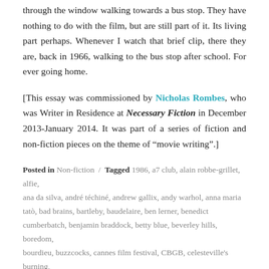through the window walking towards a bus stop. They have nothing to do with the film, but are still part of it. Its living part perhaps. Whenever I watch that brief clip, there they are, back in 1966, walking to the bus stop after school. For ever going home.
[This essay was commissioned by Nicholas Rombes, who was Writer in Residence at Necessary Fiction in December 2013-January 2014. It was part of a series of fiction and non-fiction pieces on the theme of “movie writing”.]
Posted in Non-fiction / Tagged 1986, a7 club, alain robbe-grillet, alfie, ana da silva, andré téchiné, andrew gallix, andy warhol, anna maria tatò, bad brains, bartleby, baudelaire, ben lerner, benedict cumberbatch, benjamin braddock, betty blue, beverley hills, boredom, bourdieu, buzzcocks, cannes film festival, CBGB, celesteville's burning,